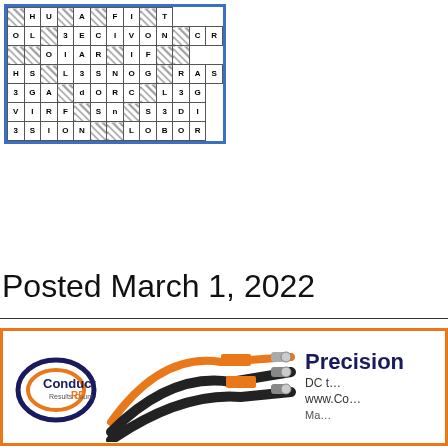[Figure (other): Crossword puzzle grid with letters in white cells and hatched black cells, shown in a blue border]
Posted March 1, 2022
[Figure (other): Advertisement banner for Conduct RF showing cable connectors, logo, text: Precision, DC t..., www.Co..., Ma...]